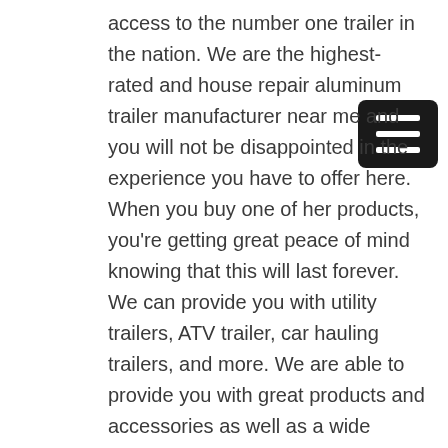access to the number one trailer in the nation. We are the highest-rated and house repair aluminum trailer manufacturer near me and you will not be disappointed in the experience you have to offer here. When you buy one of her products, you're getting great peace of mind knowing that this will last forever. We can provide you with utility trailers, ATV trailer, car hauling trailers, and more. We are able to provide you with great products and accessories as well as a wide variety of other products as well. If you're interested in getting the best price on the market, we've got you covered.
When you're searching for a great product that is also affordable, we have great coverage. Primo trailer will be able to provide you with an incredible experience that you were left from start to finish. But our website today and you'll be able to learn more about what we can offer you. When you buy